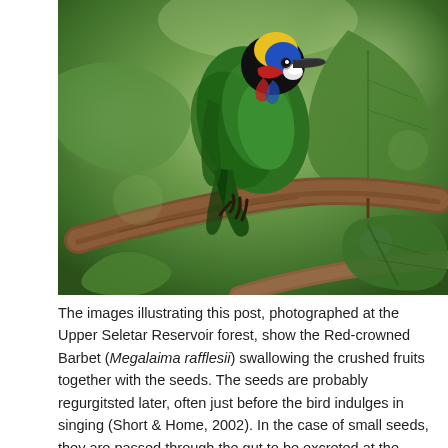[Figure (photo): A Red-crowned Barbet (Megalaima rafflesii) perched on a branch with grey berries, surrounded by green leaves. The bird has vivid multicolored plumage including red, blue, yellow, and green feathers. Photographed at Upper Seletar Reservoir forest.]
The images illustrating this post, photographed at the Upper Seletar Reservoir forest, show the Red-crowned Barbet (Megalaima rafflesii) swallowing the crushed fruits together with the seeds. The seeds are probably regurgitsted later, often just before the bird indulges in singing (Short & Home, 2002). In the case of small seeds, they are passed through the gut to be excreted at the other end.